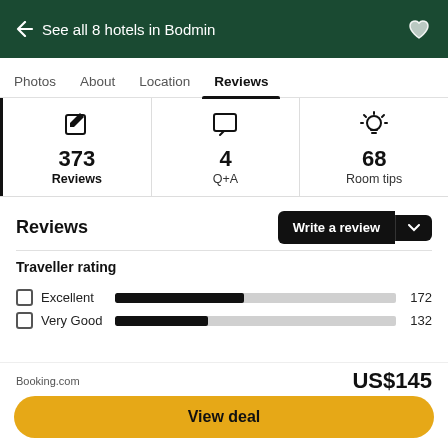← See all 8 hotels in Bodmin
Photos  About  Location  Reviews
373 Reviews  4 Q+A  68 Room tips
Reviews
Write a review
Traveller rating
Excellent 172
Very Good 132
Booking.com  US$145
View deal